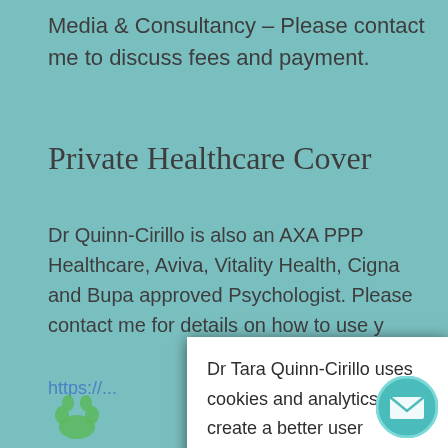Media & Consultancy – Please contact me to discuss fees and payment.
Private Healthcare Cover
Dr Quinn-Cirillo is also an AXA PPP Healthcare, Aviva, Vitality Health, Cigna and Bupa approved Psychologist. Please contact me for details on how to use your insurance cover.
https://... 22043/
[Figure (screenshot): Cookie consent dialog popup. Text reads: 'Dr Tara Quinn-Cirillo uses cookies and analytics to create a better user experience. Are you OK with this?' with two buttons: 'Accept' (dark blue) and 'info...' (light gray).]
[Figure (logo): Green paw print logo at bottom left]
[Figure (illustration): Teal circular email icon at bottom right]